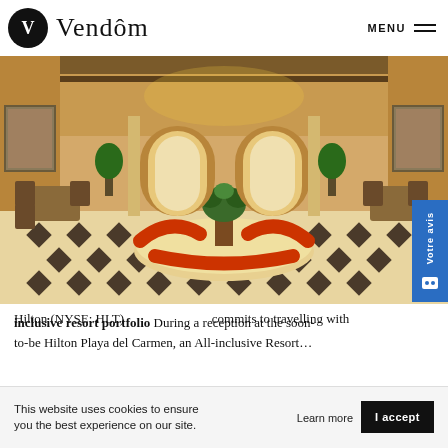Vendôm — MENU
[Figure (photo): Wide-angle interior photo of a luxury hotel lobby with ornate tiled floors in a diamond pattern, red cushioned circular seating area in the center with a floral arrangement, arched doorways leading to a restaurant area in the background, warm golden lighting, marble columns, and potted plants.]
Hilton (NYSE: HLT) … commits to travelling with …
Inclusive resort portfolio During a reception at the soon-to-be Hilton Playa del Carmen, an All-inclusive Resort …
This website uses cookies to ensure you the best experience on our site.
Learn more
I accept